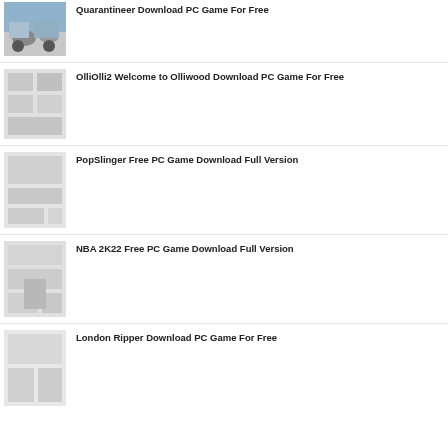[Figure (photo): Thumbnail photo showing a scene with vehicles or machinery, blue sky background]
Quarantineer Download PC Game For Free
[Figure (photo): Thumbnail placeholder with gray box pattern - OlliOlli2 game]
OlliOlli2 Welcome to Olliwood Download PC Game For Free
[Figure (photo): Thumbnail placeholder with gray box pattern - PopSlinger game]
PopSlinger Free PC Game Download Full Version
[Figure (photo): Thumbnail placeholder with gray box pattern - NBA 2K22 game]
NBA 2K22 Free PC Game Download Full Version
[Figure (photo): Thumbnail placeholder with gray box pattern - London Ripper game]
London Ripper Download PC Game For Free